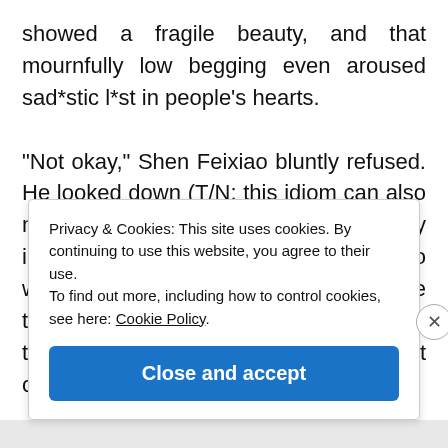showed a fragile beauty, and that mournfully low begging even aroused sad*stic l*st in people's hearts.

"Not okay," Shen Feixiao bluntly refused. He looked down (T/N: this idiom can also mean to tower above, or to be arrogantly in a higher position) at Qin Kaiyi, who was in a terrible mess, and had a smile that could chill people to the bottom of their hearts. "Shixiong, I said it's not okay."
Privacy & Cookies: This site uses cookies. By continuing to use this website, you agree to their use.
To find out more, including how to control cookies, see here: Cookie Policy
Close and accept